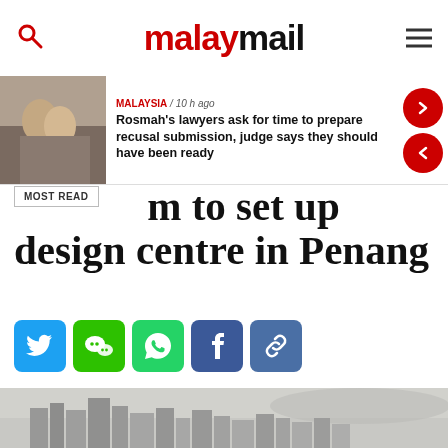malaymail
MALAYSIA / 10 h ago
Rosmah's lawyers ask for time to prepare recusal submission, judge says they should have been ready
MOST READ
om to set up design centre in Penang
[Figure (photo): Aerial view of Penang city skyline covered in haze]
[Figure (photo): News article thumbnail photo]